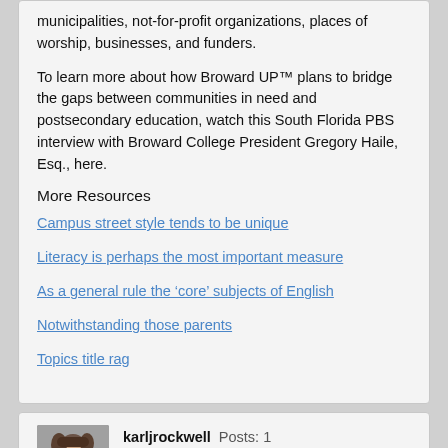municipalities, not-for-profit organizations, places of worship, businesses, and funders.
To learn more about how Broward UP™ plans to bridge the gaps between communities in need and postsecondary education, watch this South Florida PBS interview with Broward College President Gregory Haile, Esq., here.
More Resources
Campus street style tends to be unique
Literacy is perhaps the most important measure
As a general rule the ‘core’ subjects of English
Notwithstanding those parents
Topics title rag
karljrockwell  Posts: 1